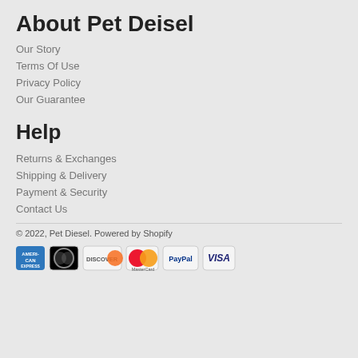About Pet Deisel
Our Story
Terms Of Use
Privacy Policy
Our Guarantee
Help
Returns & Exchanges
Shipping & Delivery
Payment & Security
Contact Us
© 2022, Pet Diesel. Powered by Shopify
[Figure (logo): Payment method icons: American Express, Diners Club, Discover, Mastercard, PayPal, Visa]